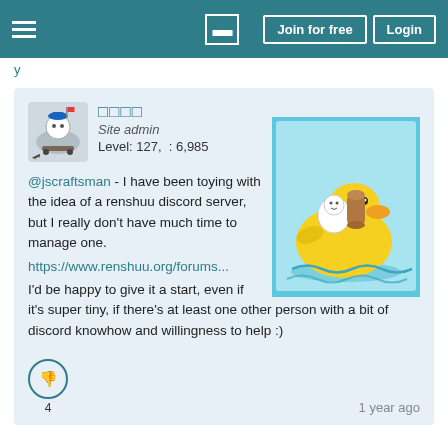Join for free | Login
y
□□□□
Site admin
Level: 127,  : 6,985
[Figure (illustration): Cartoon illustration of a small white character and a brown cylinder riding on a large yellow rubber duck floating in blue water.]
@jscraftsman - I have been toying with the idea of a renshuu discord server, but I really don't have much time to manage one.
https://www.renshuu.org/forums...
I'd be happy to give it a start, even if it's super tiny, if there's at least one other person with a bit of discord knowhow and willingness to help :)
4
1 year ago